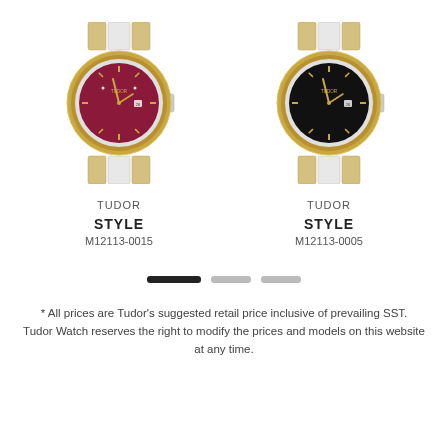[Figure (photo): Tudor Style watch M12113-0015 with burgundy/red dial, fluted gold bezel, two-tone steel and gold bracelet]
TUDOR
STYLE
M12113-0015
[Figure (photo): Tudor Style watch M12113-0005 with black dial, fluted gold bezel, two-tone steel and gold bracelet]
TUDOR
STYLE
M12113-0005
[Figure (infographic): Pagination indicator: three bars, first black (active), second and third grey (inactive)]
* All prices are Tudor’s suggested retail price inclusive of prevailing SST.
Tudor Watch reserves the right to modify the prices and models on this website at any time.